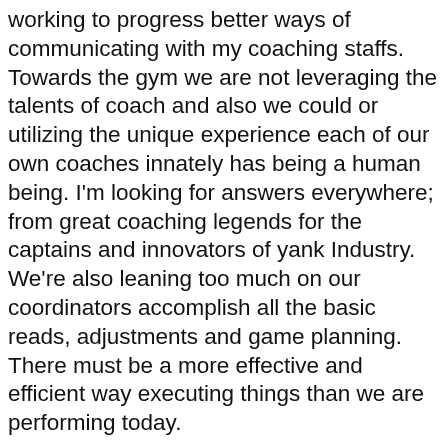working to progress better ways of communicating with my coaching staffs. Towards the gym we are not leveraging the talents of coach and also we could or utilizing the unique experience each of our own coaches innately has being a human being. I'm looking for answers everywhere; from great coaching legends for the captains and innovators of yank Industry. We're also leaning too much on our coordinators accomplish all the basic reads, adjustments and game planning. There must be a more effective and efficient way executing things than we are performing today.
There are websites which offer tips approach bet and win. For example, you can get Premier League betting tips online. In these websites, you will find information updates, which guide on seen an explosion performance of teams and players and